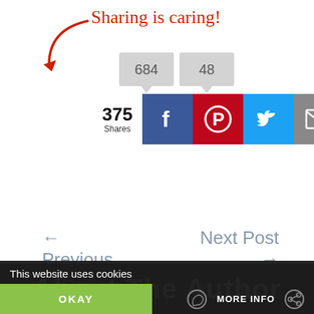[Figure (screenshot): Sharing is caring! text with red handwritten font and red arrow pointing to social share buttons. Share counts show 684 and 48. Total 375 Shares. Social buttons: Facebook (blue), Pinterest (red), Twitter (light blue), Email (grey), Custom green share button.]
← Previous Post
Next Post →
About The Author
This website uses cookies
OKAY
MORE INFO